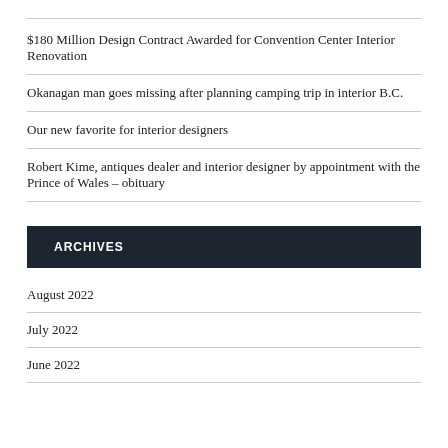$180 Million Design Contract Awarded for Convention Center Interior Renovation
Okanagan man goes missing after planning camping trip in interior B.C.
Our new favorite for interior designers
Robert Kime, antiques dealer and interior designer by appointment with the Prince of Wales – obituary
ARCHIVES
August 2022
July 2022
June 2022